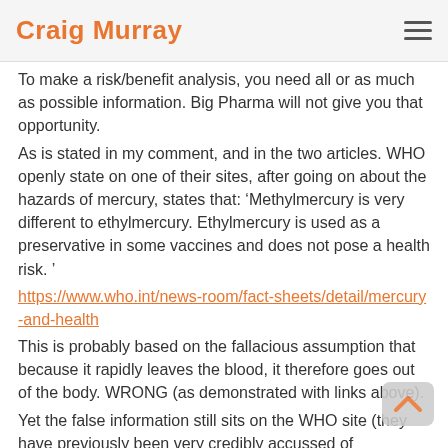Craig Murray
To make a risk/benefit analysis, you need all or as much as possible information. Big Pharma will not give you that opportunity.
As is stated in my comment, and in the two articles. WHO openly state on one of their sites, after going on about the hazards of mercury, states that: ‘Methylmercury is very different to ethylmercury. Ethylmercury is used as a preservative in some vaccines and does not pose a health risk. ’
https://www.who.int/news-room/fact-sheets/detail/mercury-and-health
This is probably based on the fallacious assumption that because it rapidly leaves the blood, it therefore goes out of the body. WRONG (as demonstrated with links above).
Yet the false information still sits on the WHO site (they have previously been very credibly accussed of cooperating with the likes of Bill Gates and other ‘human culling’ organisations, to assist spreading a vaccine among Third Country women which while ostensibly was for one thing (Tetanus, I believe), also